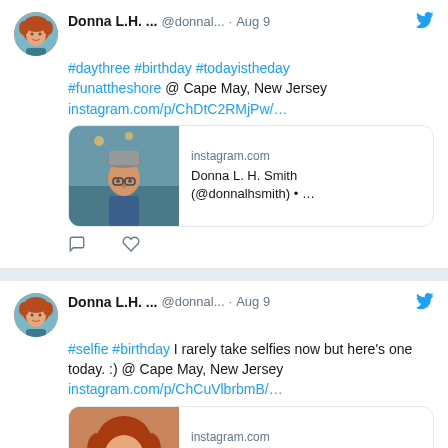[Figure (screenshot): Two Twitter/social media posts by Donna L.H. (@donnal...) dated Aug 9. First tweet contains hashtags #daythree #birthday #todayistheday #funattheshore and location Cape May, New Jersey with instagram link and a link card showing a man's photo. Second tweet contains #selfie #birthday and text 'I rarely take selfies now but here's one today. :) @ Cape May, New Jersey' with instagram link and a link card showing a woman's photo.]